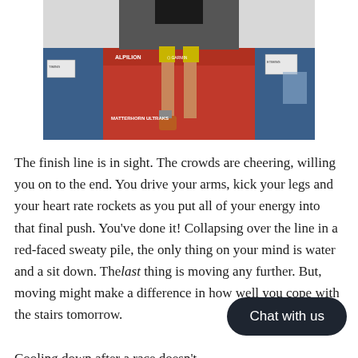[Figure (photo): Partial view of a runner's legs crossing a finish line on a red carpet/mat, with sponsor banners visible including Alpilion, Matterhorn Ultraks branding. Blue floor visible to the sides.]
The finish line is in sight. The crowds are cheering, willing you on to the end. You drive your arms, kick your legs and your heart rate rockets as you put all of your energy into that final push. You've done it! Collapsing over the line in a red-faced sweaty pile, the only thing on your mind is water and a sit down. The last thing is moving any further. But, moving might make a difference in how well you cope with the stairs tomorrow.
Cooling down after a race doesn't having a nice cold beverage. Your to cool down too. You've just slammed the